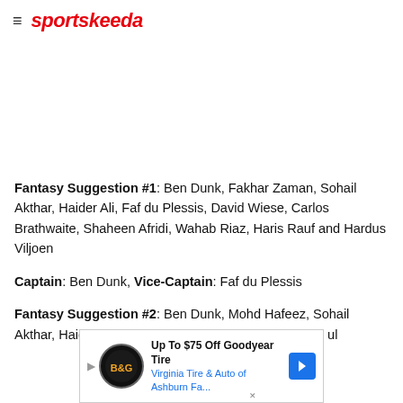sportskeeda
Fantasy Suggestion #1: Ben Dunk, Fakhar Zaman, Sohail Akthar, Haider Ali, Faf du Plessis, David Wiese, Carlos Brathwaite, Shaheen Afridi, Wahab Riaz, Haris Rauf and Hardus Viljoen
Captain: Ben Dunk, Vice-Captain: Faf du Plessis
Fantasy Suggestion #2: Ben Dunk, Mohd Hafeez, Sohail Akthar, Haider Ali, Faf du Plessis, David Wiese, Imam ul
[Figure (other): Advertisement banner: Up To $75 Off Goodyear Tire - Virginia Tire & Auto of Ashburn Fa.]